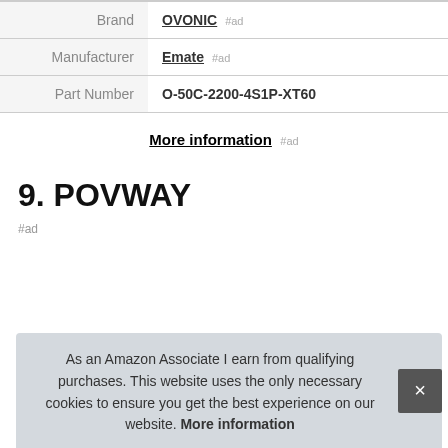| Brand | OVONIC #ad |
| Manufacturer | Emate #ad |
| Part Number | O-50C-2200-4S1P-XT60 |
More information #ad
9. POVWAY
#ad
As an Amazon Associate I earn from qualifying purchases. This website uses the only necessary cookies to ensure you get the best experience on our website. More information